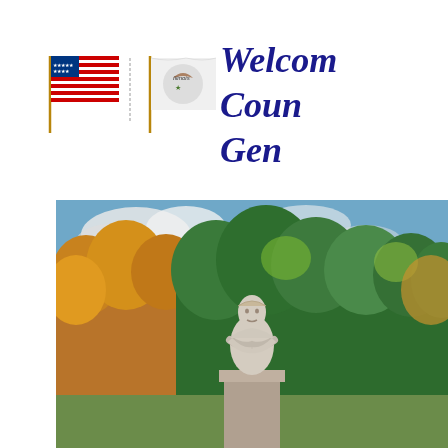[Figure (photo): Two waving flags side by side — US flag on the left and Illinois state flag on the right, on gold/brass poles]
Welcome to the County General
[Figure (photo): Outdoor photograph showing a white stone statue of a historical figure (likely Abraham Lincoln or similar) with arms crossed, surrounded by trees with autumn foliage in green, orange, and yellow, under a partly cloudy sky]